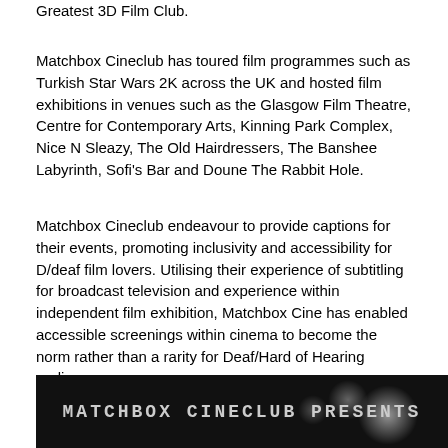Greatest 3D Film Club.
Matchbox Cineclub has toured film programmes such as Turkish Star Wars 2K across the UK and hosted film exhibitions in venues such as the Glasgow Film Theatre, Centre for Contemporary Arts, Kinning Park Complex, Nice N Sleazy, The Old Hairdressers, The Banshee Labyrinth, Sofi's Bar and Doune The Rabbit Hole.
Matchbox Cineclub endeavour to provide captions for their events, promoting inclusivity and accessibility for D/deaf film lovers. Utilising their experience of subtitling for broadcast television and experience within independent film exhibition, Matchbox Cine has enabled accessible screenings within cinema to become the norm rather than a rarity for Deaf/Hard of Hearing audiences.
[Figure (photo): Dark cinematic image with the text 'MATCHBOX CINECLUB PRESENTS' displayed in white monospaced letters against a dark background with bokeh light effects.]